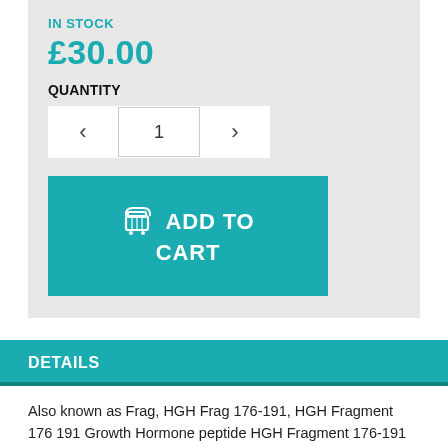IN STOCK
£30.00
QUANTITY
[Figure (screenshot): Quantity selector UI widget with left arrow button, input field showing '1', and right arrow button]
[Figure (screenshot): Teal 'ADD TO CART' button with shopping cart icon]
DETAILS
Also known as Frag, HGH Frag 176-191, HGH Fragment 176 191 Growth Hormone peptide HGH Fragment 176-191 is a synthetic modified form of the GH polypeptide's amino acids 176-191. Research carried out by scientists